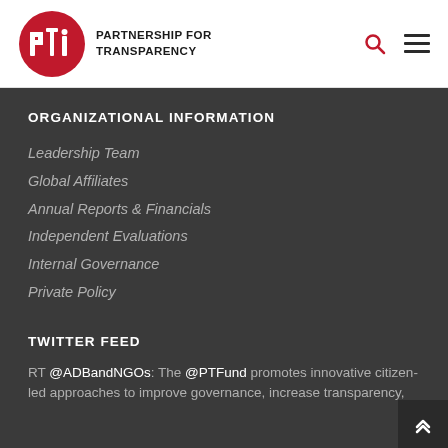PARTNERSHIP FOR TRANSPARENCY
ORGANIZATIONAL INFORMATION
Leadership Team
Global Affiliates
Annual Reports & Financials
Independent Evaluations
Internal Governance
Private Policy
TWITTER FEED
RT @ADBandNGOs: The @PTFund promotes innovative citizen-led approaches to improve governance, increase transparency,